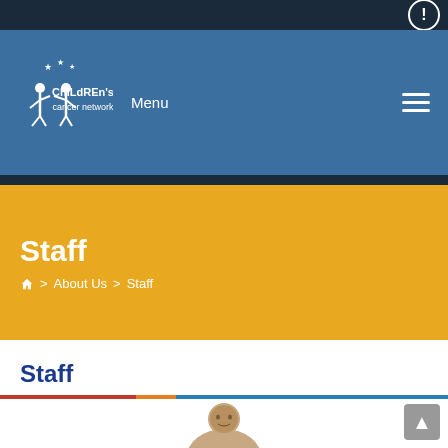[Figure (logo): Children's Cancer Network logo with two children figures and stars, white on blue background]
Menu
Staff
Home > About Us > Staff
Staff